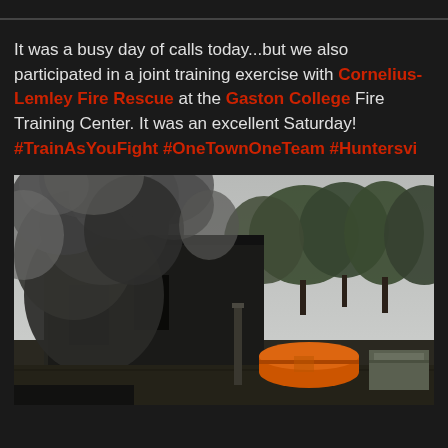It was a busy day of calls today...but we also participated in a joint training exercise with Cornelius-Lemley Fire Rescue at the Gaston College Fire Training Center. It was an excellent Saturday! #TrainAsYouFight #OneTownOneTeam #Huntersvi
[Figure (photo): Fire training exercise showing a building with heavy black smoke billowing out, trees in the background, and training equipment/tanks on the ground]